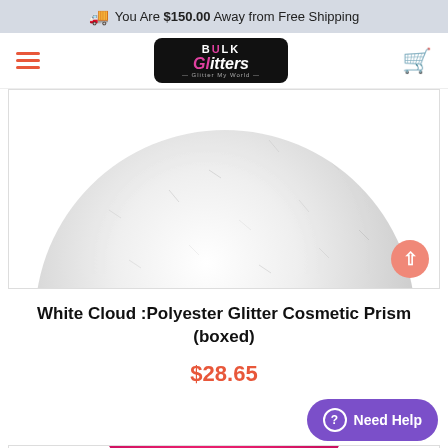You Are $150.00 Away from Free Shipping
[Figure (logo): Bulk Glitters logo - black box with pink and white text, subtitle 'Glitter My World']
[Figure (photo): White Cloud Polyester Glitter Cosmetic Prism product shown in a circular image on white background]
White Cloud :Polyester Glitter Cosmetic Prism (boxed)
$28.65
[Figure (photo): Pink glitter product partially visible at bottom of page]